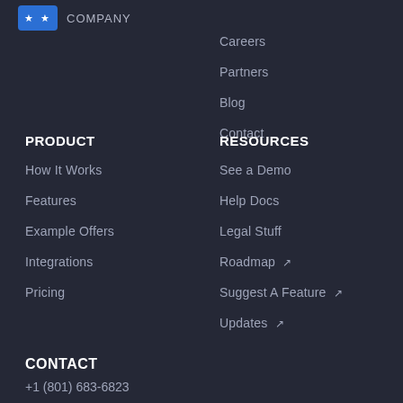[Figure (logo): Blue box logo with stars and company name text]
Careers
Partners
Blog
Contact
PRODUCT
How It Works
Features
Example Offers
Integrations
Pricing
RESOURCES
See a Demo
Help Docs
Legal Stuff
Roadmap ↗
Suggest A Feature ↗
Updates ↗
CONTACT
+1 (801) 683-6823